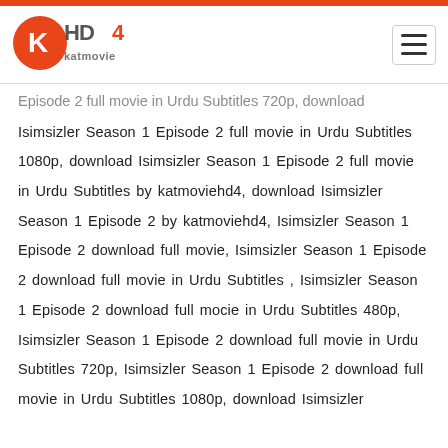[Figure (logo): KatMovieHD4 logo — orange and grey stylized text with K in a circle]
Episode 2 full movie in Urdu Subtitles 720p, download Isimsizler Season 1 Episode 2 full movie in Urdu Subtitles 1080p, download Isimsizler Season 1 Episode 2 full movie in Urdu Subtitles by katmoviehd4, download Isimsizler Season 1 Episode 2 by katmoviehd4, Isimsizler Season 1 Episode 2 download full movie, Isimsizler Season 1 Episode 2 download full movie in Urdu Subtitles , Isimsizler Season 1 Episode 2 download full mocie in Urdu Subtitles 480p, Isimsizler Season 1 Episode 2 download full movie in Urdu Subtitles 720p, Isimsizler Season 1 Episode 2 download full movie in Urdu Subtitles 1080p, download Isimsizler